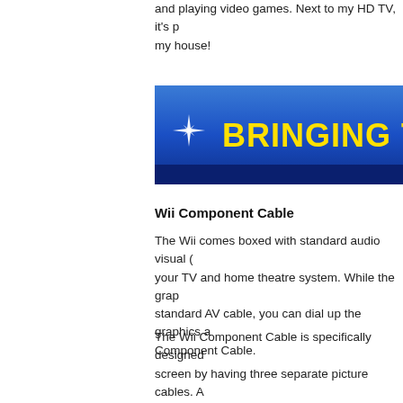and playing video games. Next to my HD TV, it's p my house!
[Figure (illustration): Blue banner graphic with yellow bold text reading 'BRINGING TO' (partially visible), with a four-pointed star sparkle on the left side]
Wii Component Cable
The Wii comes boxed with standard audio visual ( your TV and home theatre system. While the grap standard AV cable, you can dial up the graphics a Component Cable.
The Wii Component Cable is specifically designed screen by having three separate picture cables. A combining red, green, and blue colour signals. Ea Component Cable carries its own colour signal to colour signal is strong.
The standard AV cable only has one picture cable red, green and blue colour signals all have to fight causes some loss to the quality of the picture sign means the picture quality isn't as good when comp